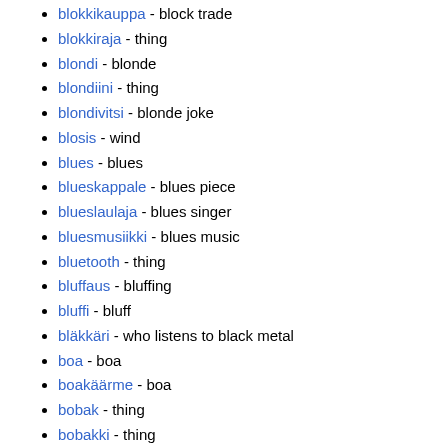blokkikauppa - block trade
blokkiraja - thing
blondi - blonde
blondiini - thing
blondivitsi - blonde joke
blosis - wind
blues - blues
blueskappale - blues piece
blueslaulaja - blues singer
bluesmusiikki - blues music
bluetooth - thing
bluffaus - bluffing
bluffi - bluff
bläkkäri - who listens to black metal
boa - boa
boakäärme - boa
bobak - thing
bobakki - thing
bodaaja - bodybuilder
bodari - bodybuilder
bodaus - bodybuilding
bodi - body